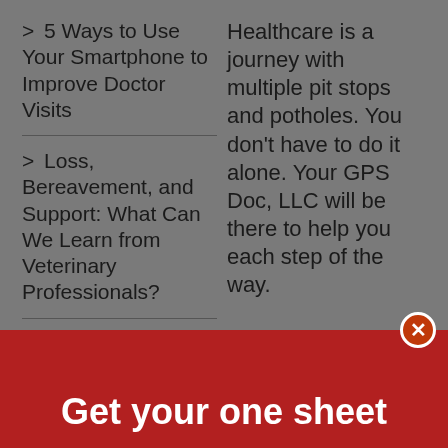> 5 Ways to Use Your Smartphone to Improve Doctor Visits
Healthcare is a journey with multiple pit stops and potholes. You don't have to do it alone. Your GPS Doc, LLC will be there to help you each step of the way.
> Loss, Bereavement, and Support: What Can We Learn from Veterinary Professionals?
> 3 Things Every College-Bound Student/Parent Need to Know
Get your one sheet